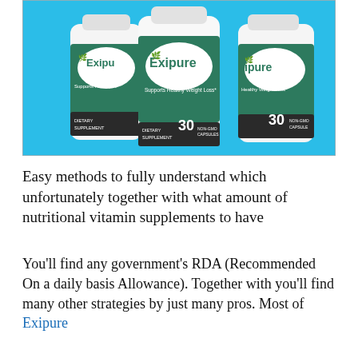[Figure (photo): Three white Exipure supplement bottles with green labels on a light blue background. Each bottle says 'Exipure', 'Supports Healthy Weight Loss', 'Dietary Supplement', '30 Non-GMO Capsules'.]
Easy methods to fully understand which unfortunately together with what amount of nutritional vitamin supplements to have
You'll find any government's RDA (Recommended On a daily basis Allowance). Together with you'll find many other strategies by just many pros. Most of Exipure...